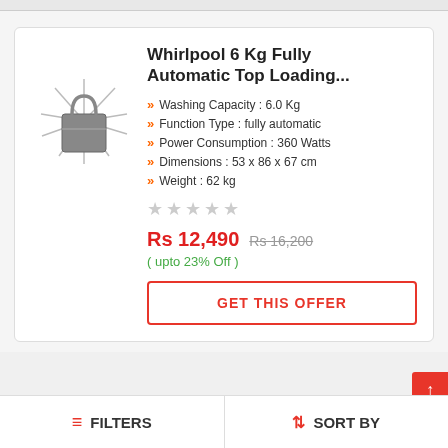Whirlpool 6 Kg Fully Automatic Top Loading... Washing Machine
Washing Capacity : 6.0 Kg
Function Type : fully automatic
Power Consumption : 360 Watts
Dimensions : 53 x 86 x 67 cm
Weight : 62 kg
Rs 12,490  Rs 16,200  ( upto 23% Off )
GET THIS OFFER
FILTERS
SORT BY